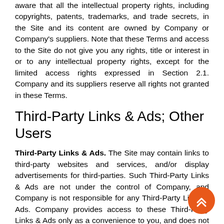aware that all the intellectual property rights, including copyrights, patents, trademarks, and trade secrets, in the Site and its content are owned by Company or Company's suppliers. Note that these Terms and access to the Site do not give you any rights, title or interest in or to any intellectual property rights, except for the limited access rights expressed in Section 2.1. Company and its suppliers reserve all rights not granted in these Terms.
Third-Party Links & Ads; Other Users
Third-Party Links & Ads. The Site may contain links to third-party websites and services, and/or display advertisements for third-parties. Such Third-Party Links & Ads are not under the control of Company, and Company is not responsible for any Third-Party Links & Ads. Company provides access to these Third-Party Links & Ads only as a convenience to you, and does not review, approve, monitor, endorse, warrant, or make any representations with respect to Third-Party Links & Ads. You use all Third-Party Links & Ads at your own risk, and should apply a suitable level of caution and discretion in doing so. When you click on any of the Third-Party Links & Ads, the applicable third party's terms and policies apply, including the third party's privacy and data gathering practices.